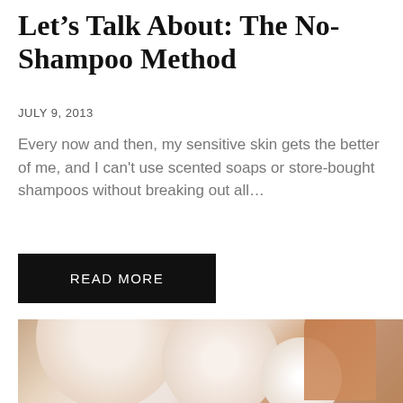Let’s Talk About: The No-Shampoo Method
JULY 9, 2013
Every now and then, my sensitive skin gets the better of me, and I can't use scented soaps or store-bought shampoos without breaking out all…
READ MORE
[Figure (photo): Blurred close-up photo of what appears to be shampoo bars or soap items near hair, with soft beige and cream tones]